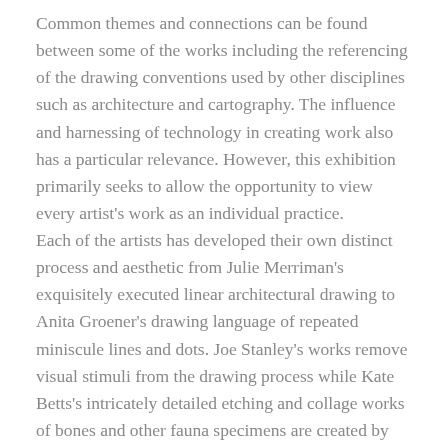Common themes and connections can be found between some of the works including the referencing of the drawing conventions used by other disciplines such as architecture and cartography. The influence and harnessing of technology in creating work also has a particular relevance. However, this exhibition primarily seeks to allow the opportunity to view every artist's work as an individual practice. Each of the artists has developed their own distinct process and aesthetic from Julie Merriman's exquisitely executed linear architectural drawing to Anita Groener's drawing language of repeated miniscule lines and dots. Joe Stanley's works remove visual stimuli from the drawing process while Kate Betts's intricately detailed etching and collage works of bones and other fauna specimens are created by drawing from life.
The sparseness and subtlety of the lines which seep across the paper in Cecily Brennan's watercolours emphasise the